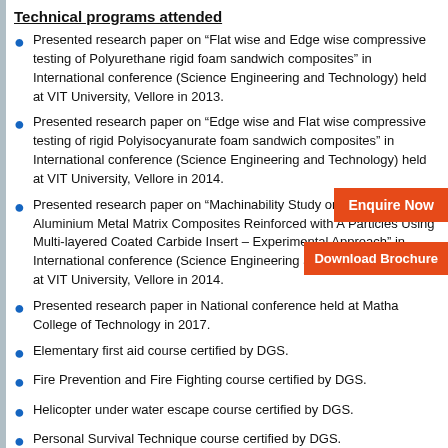Technical programs attended
Presented research paper on “Flat wise and Edge wise compressive testing of Polyurethane rigid foam sandwich composites” in International conference (Science Engineering and Technology) held at VIT University, Vellore in 2013.
Presented research paper on “Edge wise and Flat wise compressive testing of rigid Polyisocyanurate foam sandwich composites” in International conference (Science Engineering and Technology) held at VIT University, Vellore in 2014.
Presented research paper on “Machinability Study on in-situ Aluminium Metal Matrix Composites Reinforced with A Particles Using Multi-layered Coated Carbide Insert – Experimental Approach” in International conference (Science Engineering and Technology) held at VIT University, Vellore in 2014.
Presented research paper in National conference held at Matha College of Technology in 2017.
Elementary first aid course certified by DGS.
Fire Prevention and Fire Fighting course certified by DGS.
Helicopter under water escape course certified by DGS.
Personal Survival Technique course certified by DGS.
Personal Safety and social responsibility course certified by